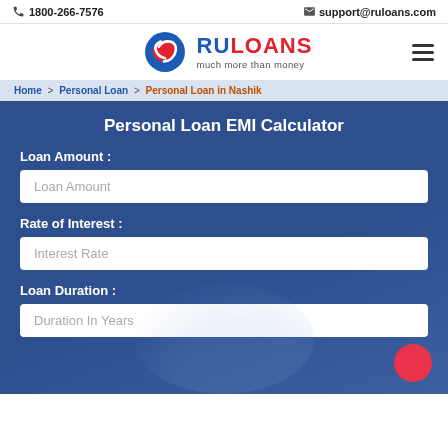1800-266-7576  support@ruloans.com
[Figure (logo): RuLoans logo with stylized R icon in blue and red, tagline: much more than money]
Home > Personal Loan > Personal Loan in Nashik
Personal Loan EMI Calculator
Loan Amount :
Loan Amount (input placeholder)
Rate of Interest :
Interest Rate (input placeholder)
Loan Duration :
Duration In Years (input placeholder)